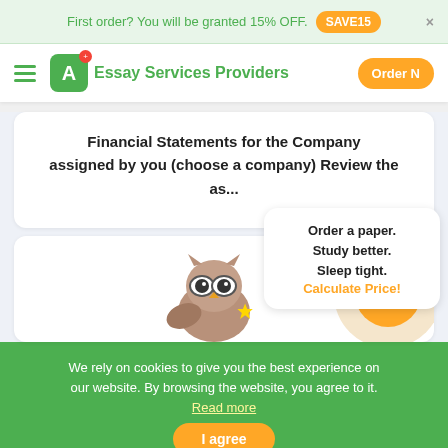First order? You will be granted 15% OFF. SAVE15
Essay Services Providers Order N
Financial Statements for the Company assigned by you (choose a company) Review the as...
Order a paper. Study better. Sleep tight. Calculate Price!
[Figure (illustration): Owl mascot illustration with glasses holding a star, next to an orange calculator icon circle]
We rely on cookies to give you the best experience on our website. By browsing the website, you agree to it. Read more
I agree